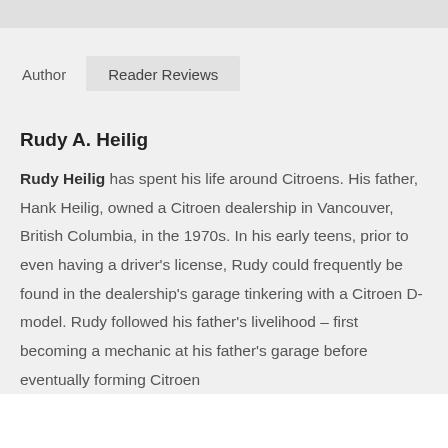Author | Reader Reviews
Rudy A. Heilig
Rudy Heilig has spent his life around Citroens. His father, Hank Heilig, owned a Citroen dealership in Vancouver, British Columbia, in the 1970s. In his early teens, prior to even having a driver's license, Rudy could frequently be found in the dealership's garage tinkering with a Citroen D-model. Rudy followed his father's livelihood – first becoming a mechanic at his father's garage before eventually forming Citroen